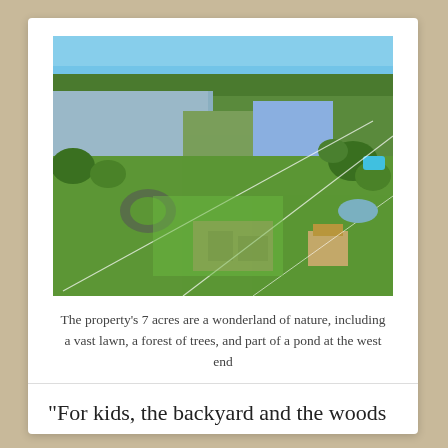[Figure (photo): Aerial view of a property with 7 acres showing lawn, forest, pond/lake, and buildings including a house with flat roof]
The property’s 7 acres are a wonderland of nature, including a vast lawn, a forest of trees, and part of a pond at the west end
“For kids, the backyard and the woods were magical. We had paths down to the pond and there were even paths that created a shortcut to get across the lake to the beach. In